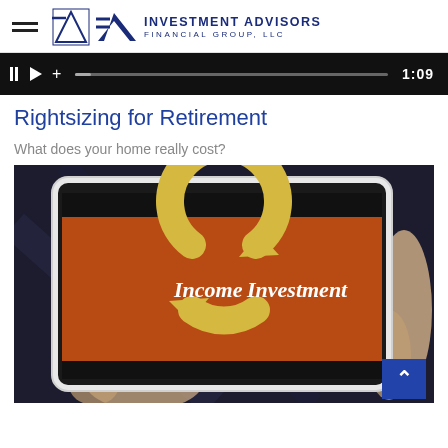Investment Advisors Financial Group, LLC
[Figure (screenshot): Video player control bar showing pause button, play button, progress bar, and timestamp 1:09 on dark background]
Rightsizing for Retirement
What does your home really cost?
[Figure (photo): Hands holding a white tablet displaying an orange screen with a circular arrow logo and text 'Income Investment']